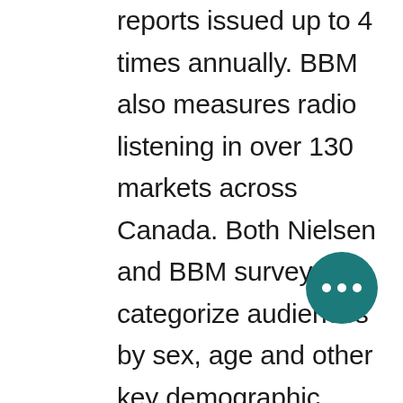reports issued up to 4 times annually. BBM also measures radio listening in over 130 markets across Canada. Both Nielsen and BBM surveys categorize audiences by sex, age and other key demographic criteria. The Print Measurement Bureau (PMB) each year analyses the readership of over 70 English and French consumer magazines and provides demographic and psychographic information on readers' age, education, income, marital status, occupation and product usage data on 1100 products and services, based upon the habits of a sample of 20 000 consumers, regarded as one of the best such studies of its type in the world. NADbank offers annual readership and product purchase data on